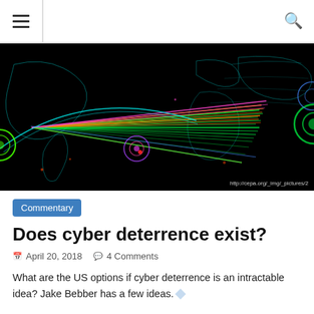≡  🔍
[Figure (screenshot): Cybersecurity visualization showing a world map with colorful network attack lines (green, orange, pink, cyan) on a black background. Credit: http://cepa.org/_img/_pictures/2]
Commentary
Does cyber deterrence exist?
April 20, 2018   4 Comments
What are the US options if cyber deterrence is an intractable idea? Jake Bebber has a few ideas.